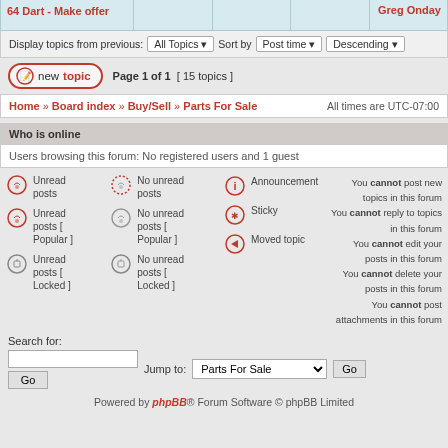64 Dart - Make offer
Greg Onday
Display topics from previous: All Topics Sort by Post time Descending
new topic  Page 1 of 1 [ 15 topics ]
Home » Board index » Buy/Sell » Parts For Sale   All times are UTC-07:00
Who is online
Users browsing this forum: No registered users and 1 guest
Unread posts | No unread posts | Announcement | Unread posts [ Popular ] | No unread posts [ Popular ] | Sticky | Unread posts [ Locked ] | No unread posts [ Locked ] | Moved topic
You cannot post new topics in this forum
You cannot reply to topics in this forum
You cannot edit your posts in this forum
You cannot delete your posts in this forum
You cannot post attachments in this forum
Search for:
Jump to: Parts For Sale  Go
Powered by phpBB® Forum Software © phpBB Limited